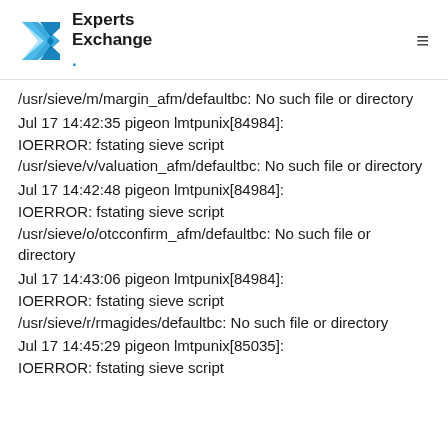Experts Exchange
/usr/sieve/m/margin_afm/defaultbc: No such file or directory
Jul 17 14:42:35 pigeon lmtpunix[84984]: IOERROR: fstating sieve script /usr/sieve/v/valuation_afm/defaultbc: No such file or directory
Jul 17 14:42:48 pigeon lmtpunix[84984]: IOERROR: fstating sieve script /usr/sieve/o/otcconfirm_afm/defaultbc: No such file or directory
Jul 17 14:43:06 pigeon lmtpunix[84984]: IOERROR: fstating sieve script /usr/sieve/r/rmagides/defaultbc: No such file or directory
Jul 17 14:45:29 pigeon lmtpunix[85035]: IOERROR: fstating sieve script